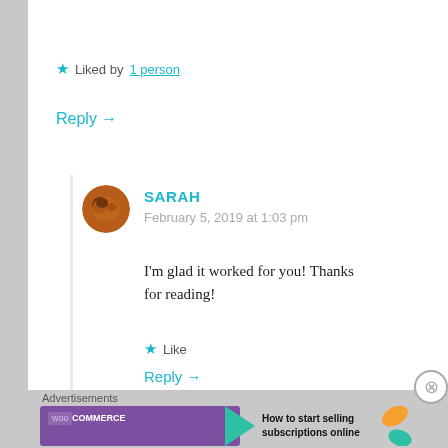★ Liked by 1 person
Reply →
SARAH
February 5, 2019 at 1:03 pm
I'm glad it worked for you! Thanks for reading!
★ Like
Reply →
Advertisements
[Figure (screenshot): WooCommerce advertisement banner: purple background with WooCommerce logo, green arrow, text 'How to start selling subscriptions online', orange and teal leaf decorations]